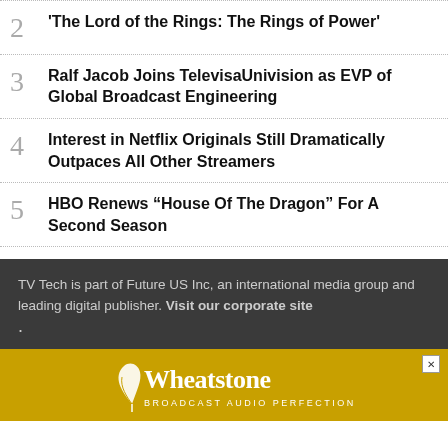2 'The Lord of the Rings: The Rings of Power'
3 Ralf Jacob Joins TelevisaUnivision as EVP of Global Broadcast Engineering
4 Interest in Netflix Originals Still Dramatically Outpaces All Other Streamers
5 HBO Renews “House Of The Dragon” For A Second Season
TV Tech is part of Future US Inc, an international media group and leading digital publisher. Visit our corporate site .
[Figure (logo): Wheatstone Broadcast Audio Perfectionists logo on golden banner]